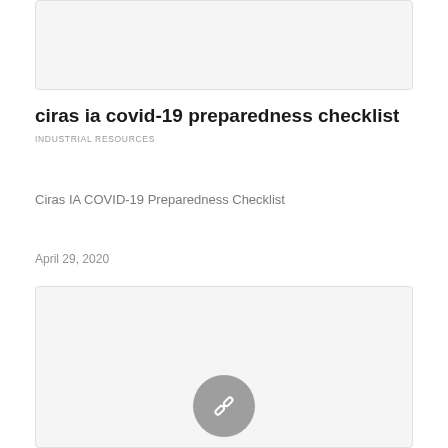[Figure (other): Gray placeholder card at top of page]
ciras ia covid-19 preparedness checklist
INDUSTRIAL RESOURCES
Ciras IA COVID-19 Preparedness Checklist
April 29, 2020
[Figure (other): Gray card with link chain icon in center]